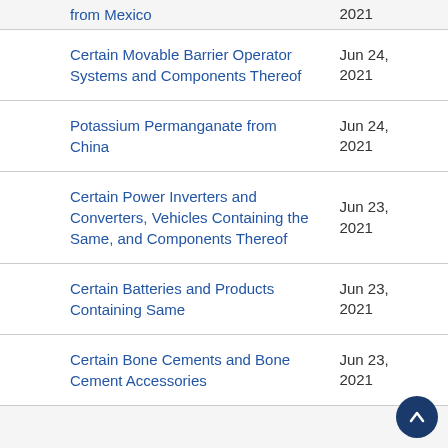from Mexico | 2021
Certain Movable Barrier Operator Systems and Components Thereof | Jun 24, 2021
Potassium Permanganate from China | Jun 24, 2021
Certain Power Inverters and Converters, Vehicles Containing the Same, and Components Thereof | Jun 23, 2021
Certain Batteries and Products Containing Same | Jun 23, 2021
Certain Bone Cements and Bone Cement Accessories | Jun 23, 2021